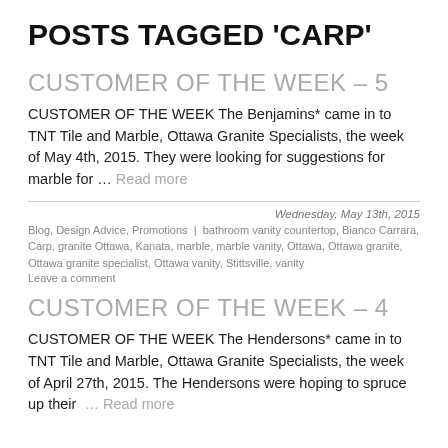POSTS TAGGED 'CARP'
CUSTOMER OF THE WEEK – 5
CUSTOMER OF THE WEEK The Benjamins* came in to TNT Tile and Marble, Ottawa Granite Specialists, the week of May 4th, 2015. They were looking for suggestions for marble for … Read more
Wednesday, May 13th, 2015
Blog, Design Advice, Promotions | bathroom vanity countertop, Bianco Carrara, Carp, granite Ottawa, Kanata, marble, marble vanity, Ottawa, Ottawa granite, Ottawa granite specialist, Ottawa vanity, Stittsville, vanity
Leave a comment
CUSTOMER OF THE WEEK – 4
CUSTOMER OF THE WEEK The Hendersons* came in to TNT Tile and Marble, Ottawa Granite Specialists, the week of April 27th, 2015. The Hendersons were hoping to spruce up their … Read more